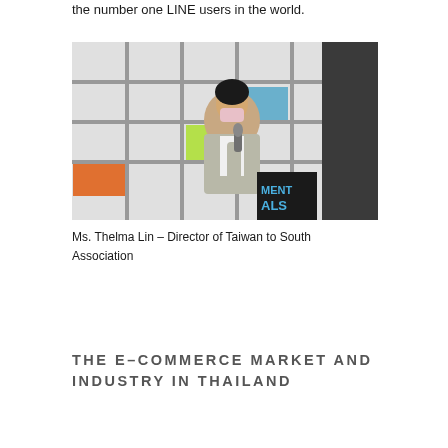the number one LINE users in the world.
[Figure (photo): A woman wearing a pink face mask and grey blazer stands at a podium holding a microphone, presenting in front of a grid-style white shelving backdrop with colorful items and a concrete column to the right. A sign partially visible reads 'MENT ALS'.]
Ms. Thelma Lin – Director of Taiwan to South Association
THE E-COMMERCE MARKET AND INDUSTRY IN THAILAND